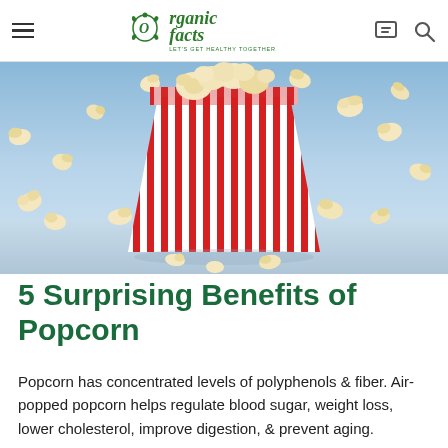Organic Facts — LET'S GET HEALTHY TOGETHER
[Figure (photo): Photo of popcorn flying out of a red and white striped popcorn box against a blue sky background]
5 Surprising Benefits of Popcorn
Popcorn has concentrated levels of polyphenols & fiber. Air-popped popcorn helps regulate blood sugar, weight loss, lower cholesterol, improve digestion, & prevent aging.